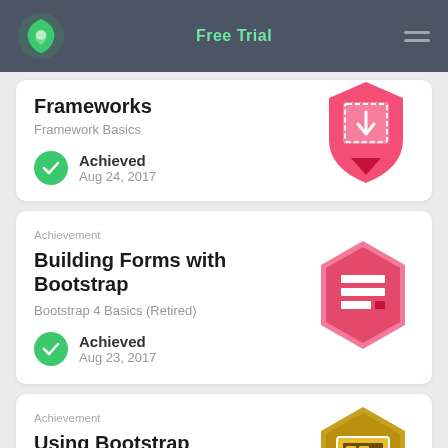Free Trial
Frameworks
Framework Basics
Achieved
Aug 24, 2017
Achievement
Building Forms with Bootstrap
Bootstrap 4 Basics (Retired)
Achieved
Aug 23, 2017
Achievement
Using Bootstrap Components
Bootstrap 4 Basics (Retired)